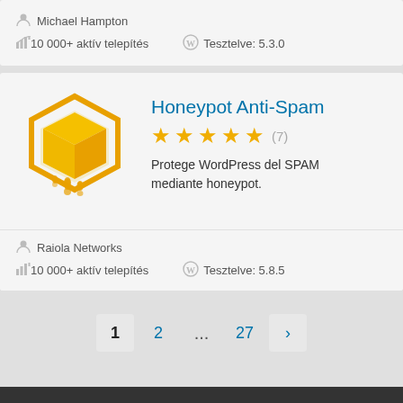Michael Hampton
10 000+ aktív telepítés   Tesztelve: 5.3.0
Honeypot Anti-Spam
[Figure (logo): Honeypot Anti-Spam plugin logo: golden/orange 3D honeycomb/box shape with dripping honey effect]
★★★★★ (7)
Protege WordPress del SPAM mediante honeypot.
Raiola Networks
10 000+ aktív telepítés   Tesztelve: 5.8.5
1 2 ... 27 ›